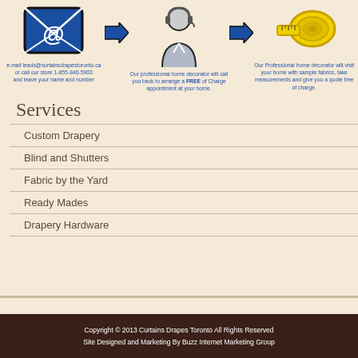[Figure (infographic): Three-step process infographic: email icon, arrow, customer service person with headset, arrow, tape measure. Steps show how to contact for a free home decorator visit.]
e-mail leads@curtainsdrapestoronto.ca or call our store 1-855-840-5903 and leave your name and number
Our professional home decorator will call you back to arrange a FREE of Charge appointment at your home.
Our Professional home decorator will visit your home with sample fabrics, take measurements and give you a quote free of charge.
Services
Custom Drapery
Blind and Shutters
Fabric by the Yard
Ready Mades
Drapery Hardware
Copyright © 2013 Curtains Drapes Toronto All Rights Reserved
Site Designed and Marketing By Buzz Internet Marketing Group